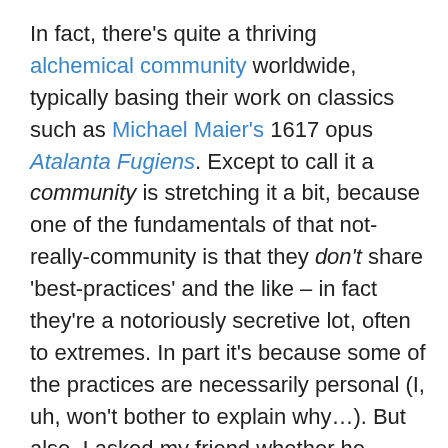In fact, there's quite a thriving alchemical community worldwide, typically basing their work on classics such as Michael Maier's 1617 opus Atalanta Fugiens. Except to call it a community is stretching it a bit, because one of the fundamentals of that not-really-community is that they don't share 'best-practices' and the like – in fact they're a notoriously secretive lot, often to extremes. In part it's because some of the practices are necessarily personal (I, uh, won't bother to explain why…). But also, I asked my friend whether he shared and discussed his processes and results with other alchemists – to which he snorted, almost derisively, "Of course not! I've spent more than thirty years on this: why on earth would I give it away to anyone else?" He